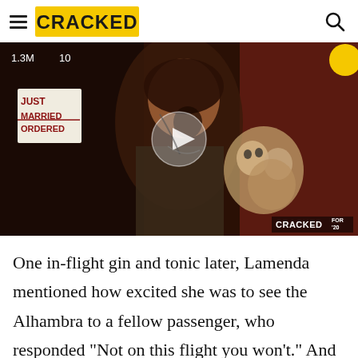CRACKED
[Figure (screenshot): Video thumbnail showing a person holding a stuffed animal toy, screaming or singing, with a sign reading 'JUST MARRIED ORDERED' visible in the background. Stats showing 1.3M and 10 in the top left. A play button circle in the center. CRACKED FOR 20 watermark in the bottom right corner. Yellow circle partially visible in top right.]
One in-flight gin and tonic later, Lamenda mentioned how excited she was to see the Alhambra to a fellow passenger, who responded "Not on this flight you won't." And that was the moment when Lamenda